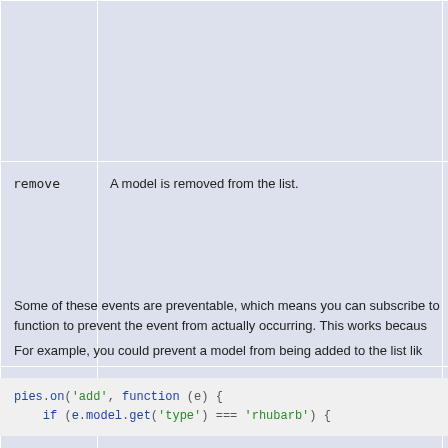| Event | Description |  |
| --- | --- | --- |
|  |  |  |
| remove | A model is removed from the list. |  |
| reset | The list is completely reset or sorted. |  |
Some of these events are preventable, which means you can subscribe to function to prevent the event from actually occurring. This works becaus
For example, you could prevent a model from being added to the list lik
pies.on('add', function (e) {
    if (e.model.get('type') === 'rhubarb') {